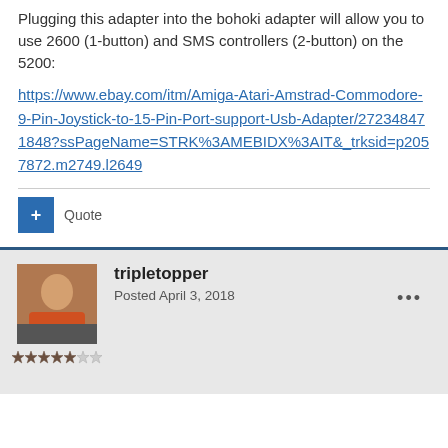Plugging this adapter into the bohoki adapter will allow you to use 2600 (1-button) and SMS controllers (2-button) on the 5200:
https://www.ebay.com/itm/Amiga-Atari-Amstrad-Commodore-9-Pin-Joystick-to-15-Pin-Port-support-Usb-Adapter/272348471848?ssPageName=STRK%3AMEBIDX%3AIT&_trksid=p2057872.m2749.l2649
Quote
tripletopper
Posted April 3, 2018